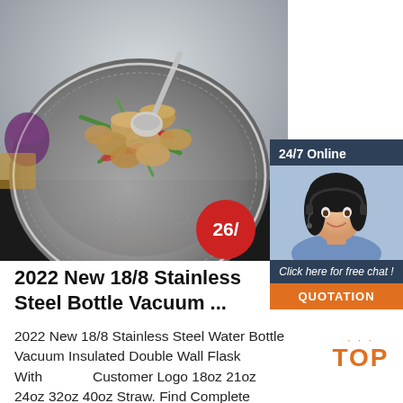[Figure (photo): A stainless steel wok pan on an induction cooker with clams stir-fried with green beans, red peppers and other vegetables. A ladle is resting in the pan. Kitchen items visible in background.]
[Figure (photo): Chat widget overlay: dark blue background showing '24/7 Online' text, photo of smiling female customer service agent with headset, 'Click here for free chat!' text in italic, and an orange 'QUOTATION' button.]
2022 New 18/8 Stainless Steel Bottle Vacuum ...
2022 New 18/8 Stainless Steel Water Bottle Vacuum Insulated Double Wall Flask With Customer Logo 18oz 21oz 24oz 32oz 40oz Straw. Find Complete Details about 2022 New